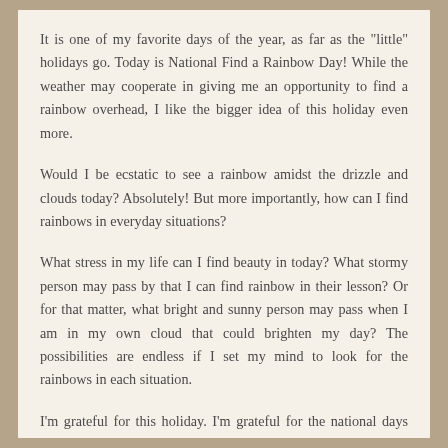It is one of my favorite days of the year, as far as the "little" holidays go. Today is National Find a Rainbow Day! While the weather may cooperate in giving me an opportunity to find a rainbow overhead, I like the bigger idea of this holiday even more.
Would I be ecstatic to see a rainbow amidst the drizzle and clouds today? Absolutely! But more importantly, how can I find rainbows in everyday situations?
What stress in my life can I find beauty in today? What stormy person may pass by that I can find rainbow in their lesson? Or for that matter, what bright and sunny person may pass when I am in my own cloud that could brighten my day? The possibilities are endless if I set my mind to look for the rainbows in each situation.
I'm grateful for this holiday. I'm grateful for the national days calendar that allows me to find so many ways to be intentional in living a more purposeful life.